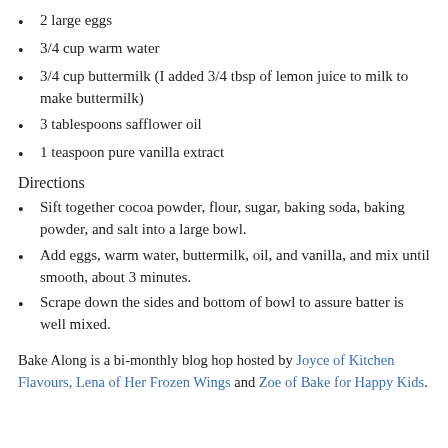2 large eggs
3/4 cup warm water
3/4 cup buttermilk (I added 3/4 tbsp of lemon juice to milk to make buttermilk)
3 tablespoons safflower oil
1 teaspoon pure vanilla extract
Directions
Sift together cocoa powder, flour, sugar, baking soda, baking powder, and salt into a large bowl.
Add eggs, warm water, buttermilk, oil, and vanilla, and mix until smooth, about 3 minutes.
Scrape down the sides and bottom of bowl to assure batter is well mixed.
Bake Along is a bi-monthly blog hop hosted by Joyce of Kitchen Flavours, Lena of Her Frozen Wings and Zoe of Bake for Happy Kids.